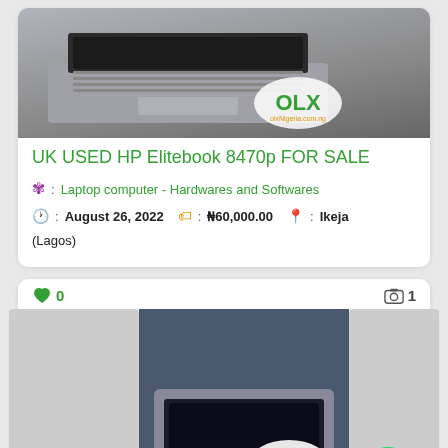[Figure (photo): HP Elitebook 8470p laptop photo with OLX watermark]
UK USED HP Elitebook 8470p FOR SALE
🌸 : Laptop computer - Hardwares and Softwares
🕐 : August 26, 2022  🏷 : ₦60,000.00  📍 : Ikeja (Lagos)
❤ 0    📷 1
[Figure (photo): Dell laptop photo with OLX watermark and WhatsApp button]
Dell Laptop ????
🌸 : Laptop computer - Hardwares and Softwares